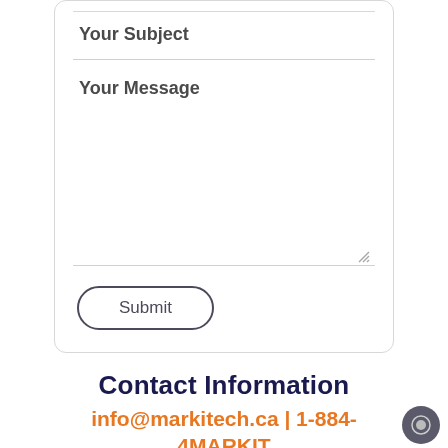Your Subject
Your Message
Submit
Contact Information
info@markitech.ca | 1-884-4MARKIT